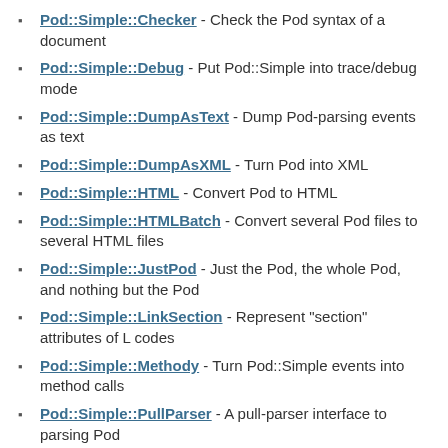Pod::Simple::Checker - Check the Pod syntax of a document
Pod::Simple::Debug - Put Pod::Simple into trace/debug mode
Pod::Simple::DumpAsText - Dump Pod-parsing events as text
Pod::Simple::DumpAsXML - Turn Pod into XML
Pod::Simple::HTML - Convert Pod to HTML
Pod::Simple::HTMLBatch - Convert several Pod files to several HTML files
Pod::Simple::JustPod - Just the Pod, the whole Pod, and nothing but the Pod
Pod::Simple::LinkSection - Represent "section" attributes of L codes
Pod::Simple::Methody - Turn Pod::Simple events into method calls
Pod::Simple::PullParser - A pull-parser interface to parsing Pod
Pod::Simple::PullParserEndToken - End-tokens from Pod::Simple::PullParser
Pod::Simple::PullParserStartToken - Start-